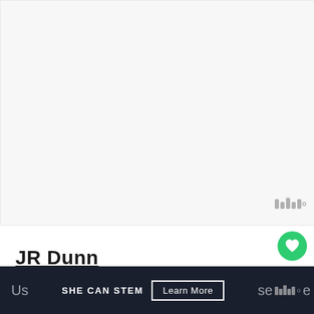[Figure (photo): Large product/store image area, light gray background, possibly a jewelry store or product image]
[Figure (other): W-shaped bar chart icon in gray with superscript degree symbol, representing a rating or metric]
[Figure (other): Green circular heart/favorite button]
[Figure (other): White circular share button with share icon and plus symbol]
JR Dunn
[Figure (infographic): Dark navy banner advertisement with text SHE CAN STEM and Learn More button, partial text on left and right sides]